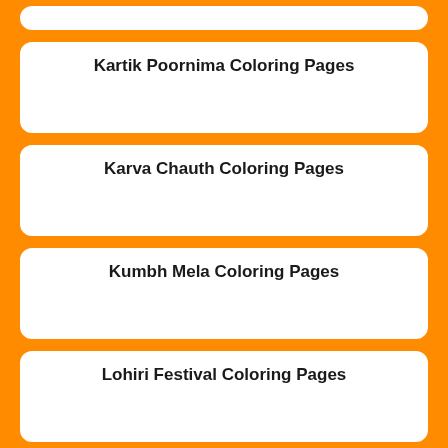Kartik Poornima Coloring Pages
Karva Chauth Coloring Pages
Kumbh Mela Coloring Pages
Lohiri Festival Coloring Pages